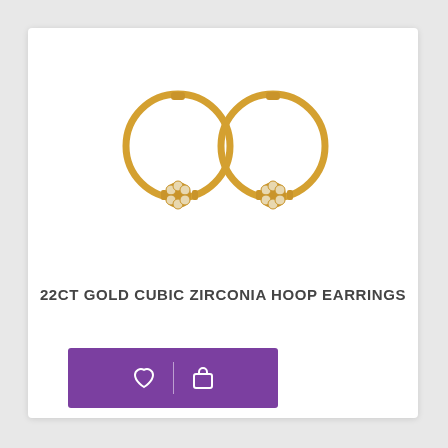[Figure (photo): Two gold hoop earrings with cubic zirconia bead details at the bottom, photographed on a white background.]
22CT GOLD CUBIC ZIRCONIA HOOP EARRINGS
[Figure (infographic): Purple rectangular button bar with a heart (wishlist) icon on the left and a shopping bag icon on the right, separated by a vertical divider.]